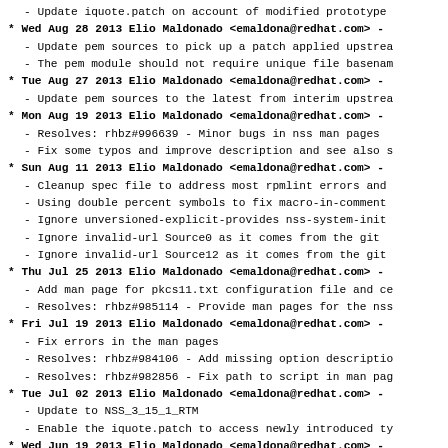- Update iquote.patch on account of modified prototype
* Wed Aug 28 2013 Elio Maldonado <emaldona@redhat.com> -
- Update pem sources to pick up a patch applied upstrea
- The pem module should not require unique file basenam
* Tue Aug 27 2013 Elio Maldonado <emaldona@redhat.com> -
- Update pem sources to the latest from interim upstrea
* Mon Aug 19 2013 Elio Maldonado <emaldona@redhat.com> -
- Resolves: rhbz#996639 - Minor bugs in nss man pages
- Fix some typos and improve description and see also s
* Sun Aug 11 2013 Elio Maldonado <emaldona@redhat.com> -
- Cleanup spec file to address most rpmlint errors and
- Using double percent symbols to fix macro-in-comment
- Ignore unversioned-explicit-provides nss-system-init
- Ignore invalid-url Source0 as it comes from the git
- Ignore invalid-url Source12 as it comes from the git
* Thu Jul 25 2013 Elio Maldonado <emaldona@redhat.com> -
- Add man page for pkcs11.txt configuration file and ce
- Resolves: rhbz#985114 - Provide man pages for the nss
* Fri Jul 19 2013 Elio Maldonado <emaldona@redhat.com> -
- Fix errors in the man pages
- Resolves: rhbz#984106 - Add missing option descriptio
- Resolves: rhbz#982856 - Fix path to script in man pag
* Tue Jul 02 2013 Elio Maldonado <emaldona@redhat.com> -
- Update to NSS_3_15_1_RTM
- Enable the iquote.patch to access newly introduced ty
* Wed Jun 19 2013 Elio Maldonado <emaldona@redhat.com> -
- Install man pages for nss-tools and the nss-config ar
- Resolves: rhbz#606020 - nss security tools lack man p
* Tue Jun 18 2013 emaldona <emaldona@redhat.com> - 3.15-4
- Build nss without softoken or util sources in the tr